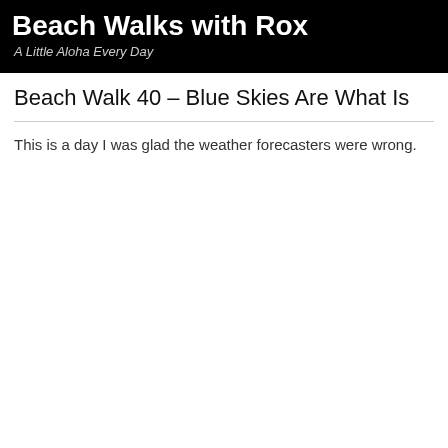Beach Walks with Rox
A Little Aloha Every Day
Beach Walk 40 – Blue Skies Are What Is
This is a day I was glad the weather forecasters were wrong.